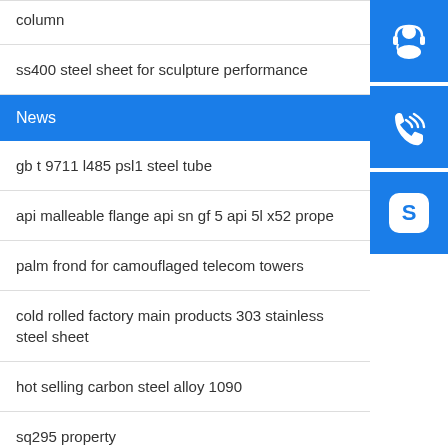column
ss400 steel sheet for sculpture performance
News
gb t 9711 l485 psl1 steel tube
api malleable flange api sn gf 5 api 5l x52 prope
palm frond for camouflaged telecom towers
cold rolled factory main products 303 stainless steel sheet
hot selling carbon steel alloy 1090
sq295 property